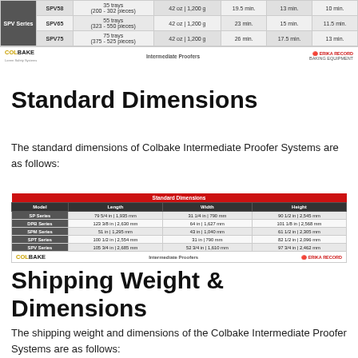| SPV Series | Model | Trays | Capacity | Time A | Time B | Time C |
| --- | --- | --- | --- | --- | --- | --- |
| SPV Series | SPV58 | 35 trays (200-302 pieces) | 42 oz | 1,200 g | 19.5 min. | 13 min. | 10 min. |
| SPV Series | SPV65 | 55 trays (323-550 pieces) | 42 oz | 1,200 g | 23 min. | 15 min. | 11.5 min. |
| SPV Series | SPV75 | 75 trays (375-525 pieces) | 42 oz | 1,200 g | 26 min. | 17.5 min. | 13 min. |
COLBAKE   Intermediate Proofers
Standard Dimensions
The standard dimensions of Colbake Intermediate Proofer Systems are as follows:
| Model | Length | Width | Height |
| --- | --- | --- | --- |
| SP Series | 79 5/4 in | 1,935 mm | 31 1/4 in | 790 mm | 90 1/2 in | 2,545 mm |
| DPB Series | 123 3/8 in | 2,630 mm | 64 in | 1,627 mm | 101 1/8 in | 2,568 mm |
| SPM Series | 51 in | 1,295 mm | 43 in | 1,040 mm | 61 1/2 in | 2,305 mm |
| SPT Series | 100 1/2 in | 2,554 mm | 31 in | 790 mm | 82 1/2 in | 2,096 mm |
| SPV Series | 105 3/4 in | 2,685 mm | 52 3/4 in | 1,610 mm | 97 3/4 in | 2,462 mm |
COLBAKE   Intermediate Proofers
Shipping Weight & Dimensions
The shipping weight and dimensions of the Colbake Intermediate Proofer Systems are as follows: